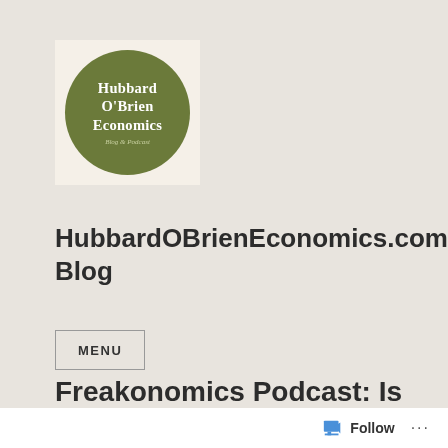[Figure (logo): Hubbard O'Brien Economics Blog & Podcast logo — circular green logo on cream background with white serif text]
HubbardOBrienEconomics.com Blog
MENU
Freakonomics Podcast: Is $2 Trillion the Right...
Follow ...